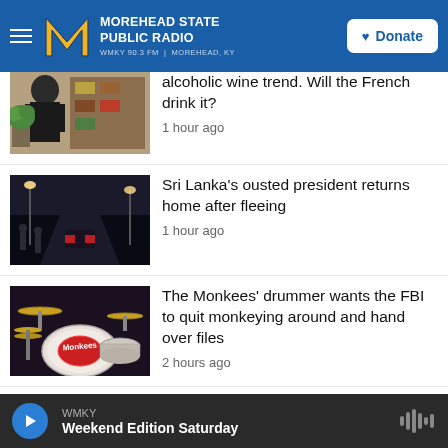Morehead State Public Radio — WMKY 90.3 FM | Morehead, KY — Donate
alcoholic wine trend. Will the French drink it? — 1 hour ago
Sri Lanka's ousted president returns home after fleeing — 1 hour ago
The Monkees' drummer wants the FBI to quit monkeying around and hand over files — 2 hours ago
Stressed out about climate change? 4 ways to tackle both the feelings and
WMKY — Weekend Edition Saturday